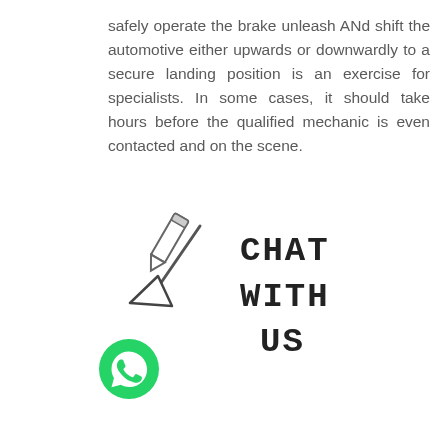safely operate the brake unleash ANd shift the automotive either upwards or downwardly to a secure landing position is an exercise for specialists. In some cases, it should take hours before the qualified mechanic is even contacted and on the scene.
[Figure (illustration): Hand-drawn arrow pointing down-left, handwritten text 'CHAT WITH US', and a WhatsApp phone icon (green circle with white phone handset).]